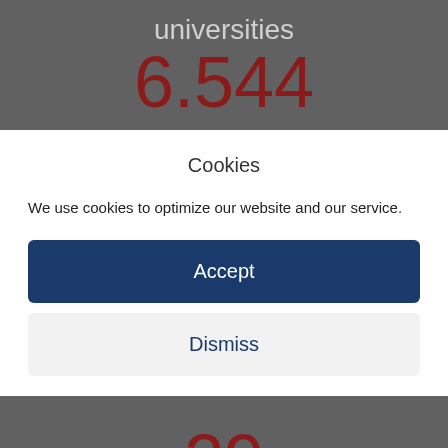universities
6.544
Cookies
We use cookies to optimize our website and our service.
Accept
Dismiss
29
Students from more than 100 different